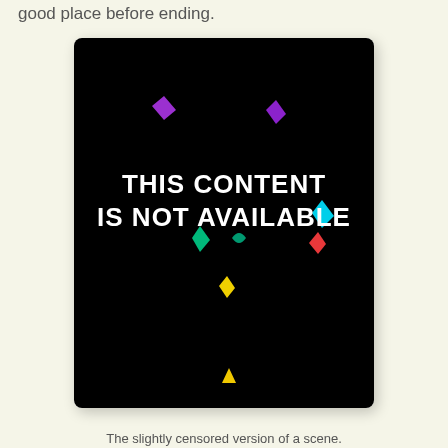good place before ending.
[Figure (screenshot): Black screen with colorful confetti shapes and bold white text reading 'THIS CONTENT IS NOT AVAILABLE']
The slightly censored version of a scene.